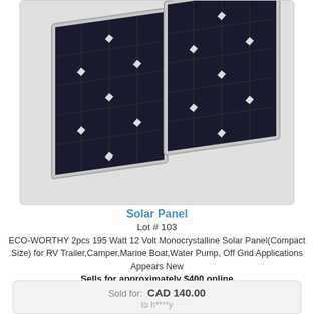[Figure (photo): Two ECO-WORTHY monocrystalline solar panels (black cells with white grid lines and diamond-shaped junction boxes) leaning at an angle against each other on a light grey background, shown in perspective view with silver aluminum frames.]
Solar Panel
Lot # 103
ECO-WORTHY 2pcs 195 Watt 12 Volt Monocrystalline Solar Panel(Compact Size) for RV Trailer,Camper,Marine Boat,Water Pump, Off Grid Applications
Appears New
Sells for approximately $400 online
| Sold for: | CAD 140.00 |
|  | to h****y |